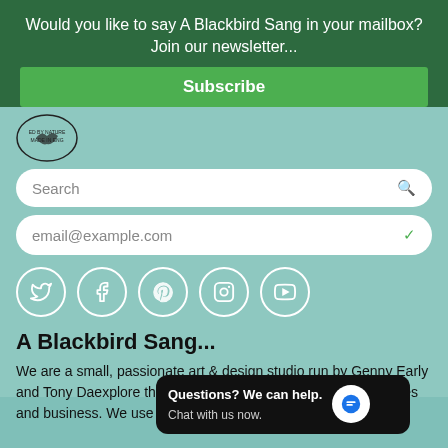Would you like to say A Blackbird Sang in your mailbox? Join our newsletter...
Subscribe
[Figure (logo): Circular stamp logo with bird, text 'ED BY NATURE - MADE IN ENG']
Search
email@example.com
[Figure (infographic): Row of five social media icons in circles: Twitter, Facebook, Pinterest, Instagram, YouTube]
A Blackbird Sang...
We are a small, passionate art & design studio run by Genny Early and Tony Da... explore the poetry and visual ideas o... work for homes and business. We use sustainable and recyclable materials to
Questions? We can help. Chat with us now.